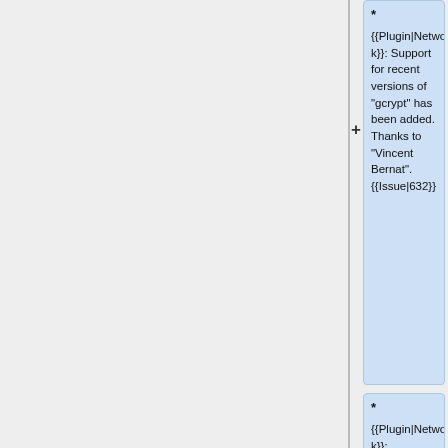* {{Plugin|Network k}}: Support for recent versions of "gcrypt" has been added. Thanks to "Vincent Bernat". {{Issue|632}}
* {{Plugin|Network k}}: Robustness of the client connecting behavior has been improved. Thanks to [[User:Octo|Florian Forster]]. {{Issue|627}}
* {{Plugin|Python }}: Don't create